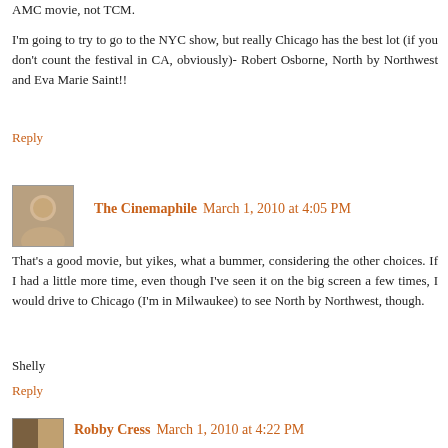AMC movie, not TCM.
I'm going to try to go to the NYC show, but really Chicago has the best lot (if you don't count the festival in CA, obviously)- Robert Osborne, North by Northwest and Eva Marie Saint!!
Reply
The Cinemaphile  March 1, 2010 at 4:05 PM
That's a good movie, but yikes, what a bummer, considering the other choices. If I had a little more time, even though I've seen it on the big screen a few times, I would drive to Chicago (I'm in Milwaukee) to see North by Northwest, though.
Shelly
Reply
Robby Cress  March 1, 2010 at 4:22 PM